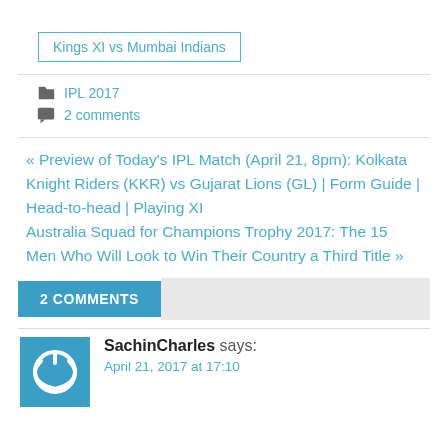Kings XI vs Mumbai Indians
IPL 2017
2 comments
« Preview of Today's IPL Match (April 21, 8pm): Kolkata Knight Riders (KKR) vs Gujarat Lions (GL) | Form Guide | Head-to-head | Playing XI  Australia Squad for Champions Trophy 2017: The 15 Men Who Will Look to Win Their Country a Third Title »
2 COMMENTS
SachinCharles says:
April 21, 2017 at 17:10